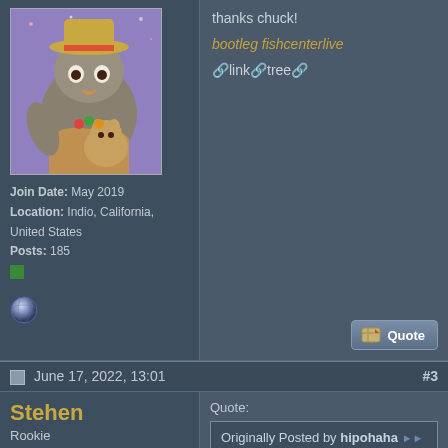[Figure (illustration): Forum avatar showing cartoon characters - a large bird/creature wearing a hat and a smaller cat-like creature, on a purple background]
Join Date: May 2019
Location: Indio, California, United States
Posts: 185
thanks chuck!

bootleg fishcenterlive

🔗linktree🔗
June 17, 2022, 13:01
#3
Stehen
Rookie

Join Date: Jun 2022
Posts: 2
Quote:

Originally Posted by hipohaha
A series of Maynkraft games in which the whole world is made of cardboard. The essence of the game remains the same - to collect resources and their owners different objects, pick up with the combination of resources